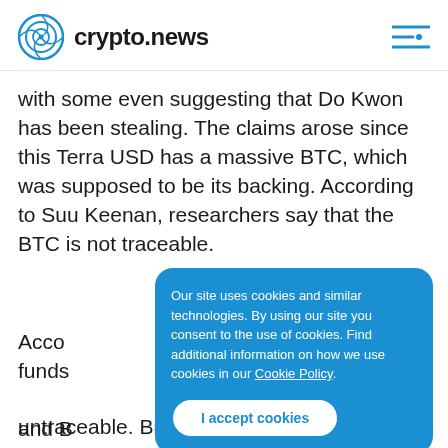crypto.news
with some even suggesting that Do Kwon has been stealing. The claims arose since this Terra USD has a massive BTC, which was supposed to be its backing. According to Suu Keenan, researchers say that the BTC is not traceable.
Our site uses cookies and similar technologies. By using our site you consent to the use of cookies. Find additional information on how we use cookies in our Cookie Policy. I accept cookies
Acco funds and B excha untraceable. But earlier today, LFG